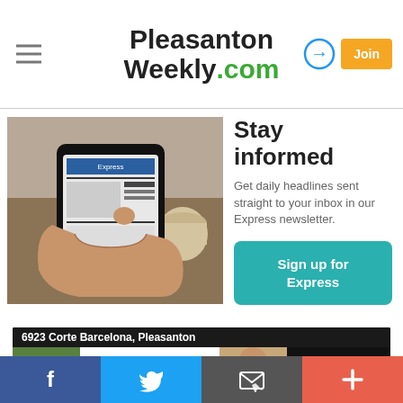Pleasanton Weekly.com
[Figure (screenshot): Hands holding a smartphone displaying the Express newsletter/website, with a coffee cup in background]
Stay informed
Get daily headlines sent straight to your inbox in our Express newsletter.
Sign up for Express
[Figure (infographic): Real estate advertisement: 6923 Corte Barcelona, Pleasanton - 3 BD | 2.5 BA | 1,958 SF - Remodeled & updated throughout. $1,620,000 - Kris Moxley Real Estate / COMPASS]
Social sharing bar: Facebook, Twitter, Email, Plus